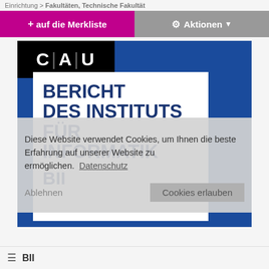Einrichtung > Fakultäten, Technische Fakultät
+ auf die Merkliste
⚙ Aktionen ▾
[Figure (illustration): Book cover image for 'Bericht des Instituts für Informatik' from CAU (Christian-Albrechts-Universität) with blue background, CAU logo in black top-left, white inset box with bold dark blue text reading 'BERICHT DES INSTITUTS FÜR INFORMATIK' and 'BII' label]
Diese Website verwendet Cookies, um Ihnen die beste Erfahrung auf unserer Website zu ermöglichen. Datenschutz
Ablehnen    Cookies erlauben
BII